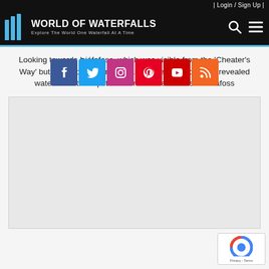| Login / Sign Up |
[Figure (logo): World of Waterfalls logo with blue bar chart icon, title 'World of Waterfalls' and subtitle 'Explore The World One Waterfall At A Time']
Looking towards Þjófafoss, which was visible from the 'Cheater's Way' but also along the main trail. I believe the partially revealed waterfall further upstream on Stórilækur was Hundafoss
[Figure (photo): Social media share bar with Facebook, Twitter, Instagram, Pinterest, YouTube, RSS icons overlaid on caption text]
[Figure (photo): Main content image placeholder (light gray area)]
[Figure (other): reCAPTCHA logo and Privacy/Terms footer in bottom right corner]